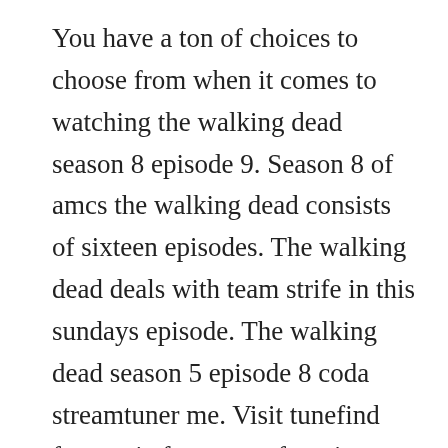You have a ton of choices to choose from when it comes to watching the walking dead season 8 episode 9. Season 8 of amcs the walking dead consists of sixteen episodes. The walking dead deals with team strife in this sundays episode. The walking dead season 5 episode 8 coda streamtuner me. Visit tunefind for music from your favorite tv shows and movies. Where to watch the walking dead season 8 episode 6 online for free. An official debut date for the walking dead has not yet been released, but new